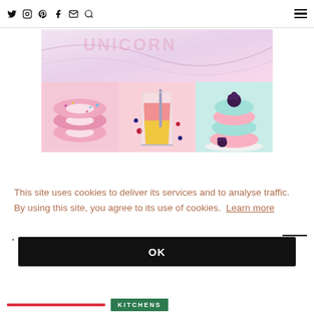Social media icons (Twitter, Instagram, Pinterest, Facebook, Mail, Search) and hamburger menu
[Figure (illustration): Unicorn Cookbook promotional image with COOKBOOK text banner and three food photos: pink donuts, pink/orange layered smoothie, and mint/pink ice cream stack with berries]
This site uses cookies to deliver its services and to analyse traffic. By using this site, you agree to its use of cookies. Learn more
OK
Red bar and KITCHENS button